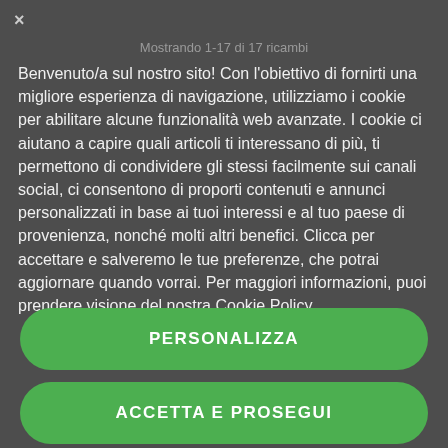×
Mostrando 1-17 di 17 ricambi
Benvenuto/a sul nostro sito! Con l'obiettivo di fornirti una migliore esperienza di navigazione, utilizziamo i cookie per abilitare alcune funzionalità web avanzate. I cookie ci aiutano a capire quali articoli ti interessano di più, ti permettono di condividere gli stessi facilmente sui canali social, ci consentono di proporti contenuti e annunci personalizzati in base ai tuoi interessi e al tuo paese di provenienza, nonché molti altri benefici. Clicca per accettare e salveremo le tue preferenze, che potrai aggiornare quando vorrai. Per maggiori informazioni, puoi prendere visione del nostra Cookie Policy.
PERSONALIZZA
ACCETTA E PROSEGUI